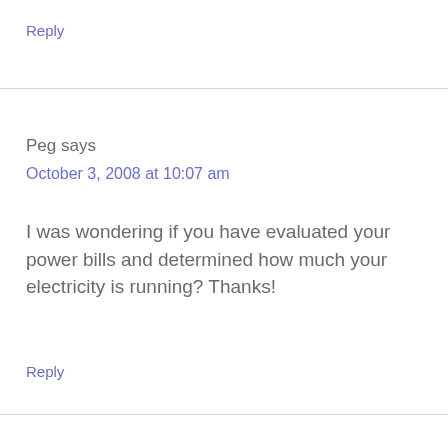Reply
Peg says
October 3, 2008 at 10:07 am
I was wondering if you have evaluated your power bills and determined how much your electricity is running? Thanks!
Reply